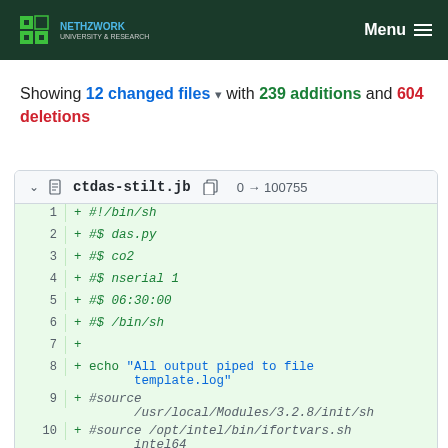NETHZWORK UNIVERSITY & RESEARCH  Menu
Showing 12 changed files with 239 additions and 604 deletions
ctdas-stilt.jb  0 → 100755
1 + #!/bin/sh
2 + #$ das.py
3 + #$ co2
4 + #$ nserial 1
5 + #$ 06:30:00
6 + #$ /bin/sh
7 +
8 + echo "All output piped to file template.log"
9 + #source /usr/local/Modules/3.2.8/init/sh
10 + #source /opt/intel/bin/ifortvars.sh intel64